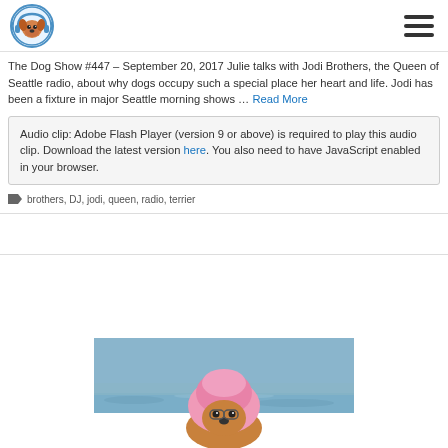The Dog Show logo and navigation menu
The Dog Show #447 – September 20, 2017 Julie talks with Jodi Brothers, the Queen of Seattle radio, about why dogs occupy such a special place her heart and life. Jodi has been a fixture in major Seattle morning shows … Read More
Audio clip: Adobe Flash Player (version 9 or above) is required to play this audio clip. Download the latest version here. You also need to have JavaScript enabled in your browser.
brothers, DJ, jodi, queen, radio, terrier
[Figure (photo): Dog wearing a pink hat/costume at water, partially visible at bottom of page]